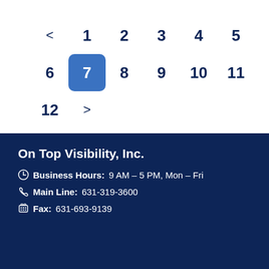[Figure (other): Pagination widget showing page numbers 1-12 with page 7 highlighted in blue, and navigation arrows]
On Top Visibility, Inc.
Business Hours: 9 AM – 5 PM, Mon – Fri
Main Line: 631-319-3600
Fax: 631-693-9139